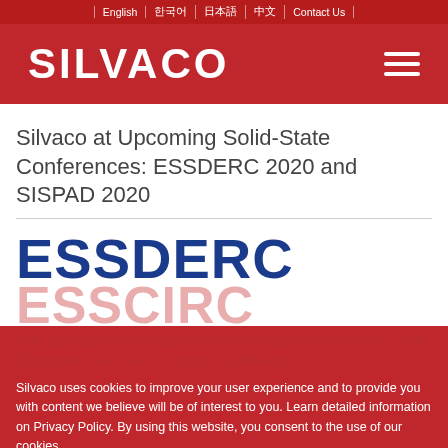| English | [Korean] | [Korean] | [Korean] | Contact Us |
[Figure (logo): Silvaco company logo in white text on dark red background with hamburger menu icon]
Silvaco at Upcoming Solid-State Conferences: ESSDERC 2020 and SISPAD 2020
[Figure (logo): ESSDERC logo in large bold blue text, with ESSCIRC text partially visible below in red]
Silvaco uses cookies to improve your user experience and to provide you with content we believe will be of interest to you. Learn detailed information on Privacy Policy. By using this website, you consent to the use of our cookies.
50th European Solid-State Device Research Conference / 46th European Solid-State Circuits Conference
Silvaco technology and research partners will be participating in the ESSDERC/ESSCIRC 2020 joint